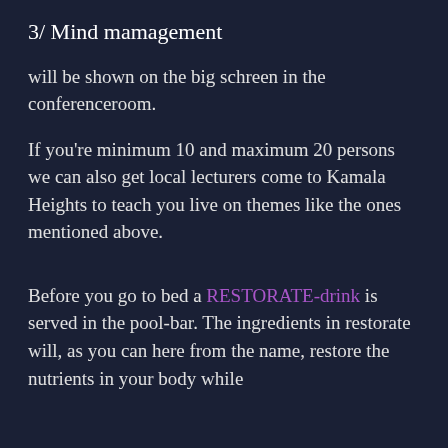3/ Mind mamagement
will be shown on the big schreen in the conferenceroom.
If you're minimum 10 and maximum 20 persons we can also get local lecturers come to Kamala Heights to teach you live on themes like the ones mentioned above.
Before you go to bed a RESTORATE-drink is served in the pool-bar. The ingredients in restorate will, as you can here from the name, restore the nutrients in your body while